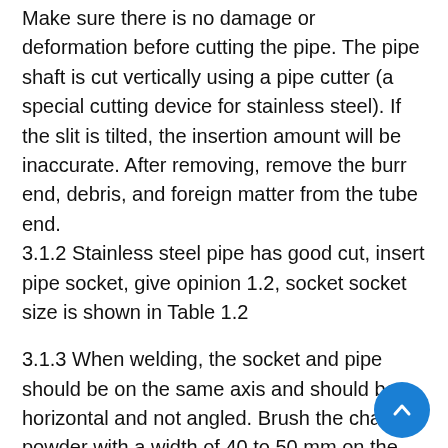Make sure there is no damage or deformation before cutting the pipe. The pipe shaft is cut vertically using a pipe cutter (a special cutting device for stainless steel). If the slit is tilted, the insertion amount will be inaccurate. After removing, remove the burr end, debris, and foreign matter from the tube end. 3.1.2 Stainless steel pipe has good cut, insert pipe socket, give opinion 1.2, socket socket size is shown in Table 1.2
3.1.3 When welding, the socket and pipe should be on the same axis and should be horizontal and not angled. Brush the chalk powder with a width of 40 to 50 mm on the outside of the end of the socket, and start welding after drying. For the first spot weld, 3-5 points are suitable. 3.1.4 Welding work is centered on the waist, the